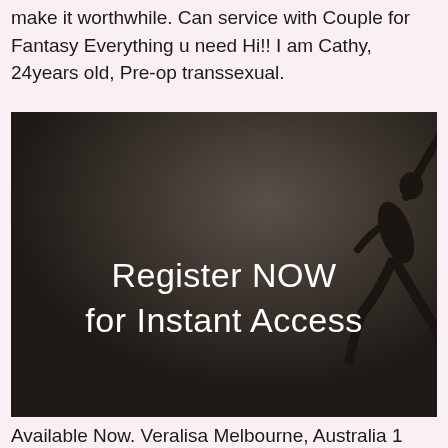make it worthwhile. Can service with Couple for Fantasy Everything u need Hi!! I am Cathy, 24years old, Pre-op transsexual.
[Figure (photo): Dark background photo of a dancer silhouette jumping/leaping, with overlay text 'Register NOW for Instant Access']
Available Now. Veralisa Melbourne, Australia 1